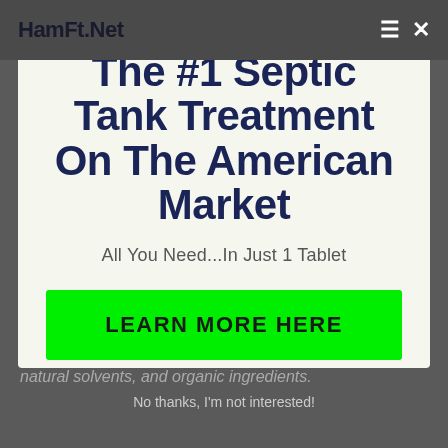HamFt.Net ≡ ✕
The #1 Septic Tank Treatment On The American Market
All You Need...In Just 1 Tablet
LEARN MORE HERE
natural solvents, and organic ingredients.
No thanks, I'm not interested!